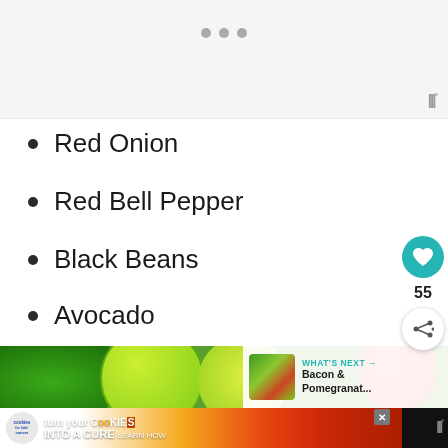[Figure (screenshot): Top grey banner area with three small dot icons and a Wm logo in the bottom right corner]
Red Onion
Red Bell Pepper
Black Beans
Avocado
[Figure (photo): Photo of limes, cilantro, and tomatoes with a 'What's Next' overlay panel showing Bacon & Pomegranate... article thumbnail]
[Figure (screenshot): Advertisement banner: cookies for kids cancer - turn your cookies into a CURE LEARN HOW, with close button and Wm logo]